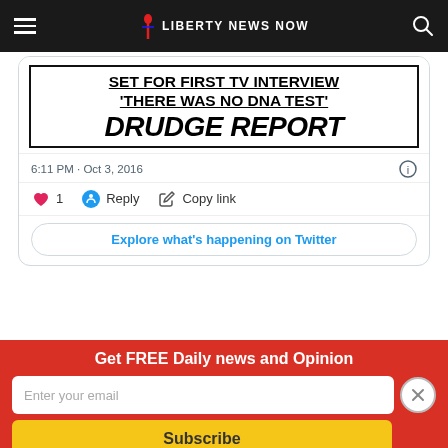Liberty News Now
[Figure (screenshot): Embedded tweet screenshot showing Drudge Report headline: 'SET FOR FIRST TV INTERVIEW / THERE WAS NO DNA TEST' with Drudge Report logo, posted 6:11 PM Oct 3, 2016 with 1 like, Reply and Copy link actions, and Explore what's happening on Twitter button]
This is not the time that this content was for about
Get FREE Daily news and Opinion
Enter your email
Subscribe